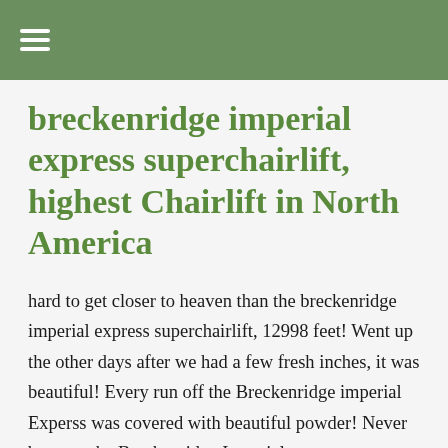≡
breckenridge imperial express superchairlift, highest Chairlift in North America
hard to get closer to heaven than the breckenridge imperial express superchairlift, 12998 feet! Went up the other days after we had a few fresh inches, it was beautiful! Every run off the Breckenridge imperial Experss was covered with beautiful powder! Never been on the Breckenridge Imperial express, you need to! The chailift drops you at 12.,998 feet, highest chairlift in North America.